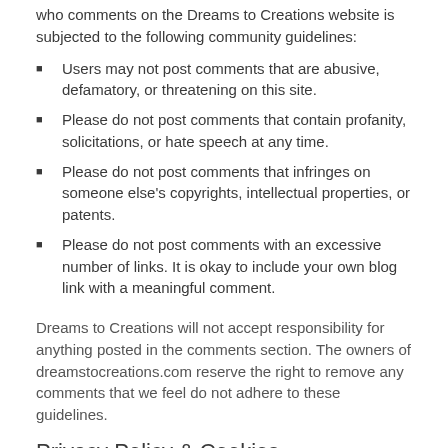who comments on the Dreams to Creations website is subjected to the following community guidelines:
Users may not post comments that are abusive, defamatory, or threatening on this site.
Please do not post comments that contain profanity, solicitations, or hate speech at any time.
Please do not post comments that infringes on someone else's copyrights, intellectual properties, or patents.
Please do not post comments with an excessive number of links. It is okay to include your own blog link with a meaningful comment.
Dreams to Creations will not accept responsibility for anything posted in the comments section. The owners of dreamstocreations.com reserve the right to remove any comments that we feel do not adhere to these guidelines.
Privacy Policy & Cookies
This Privacy Policy explains how we collect, disclose, use, and